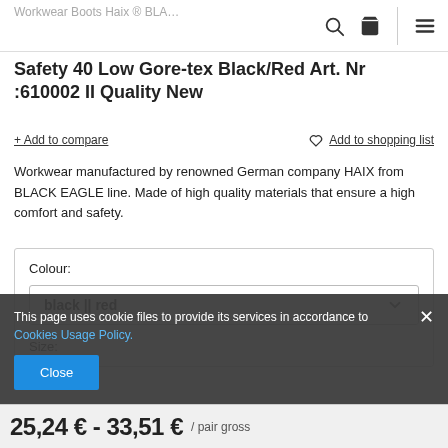Workwear Boots Haix ® BLACK EAGLE Safety 40 Low Gore-tex Black/Red Art. Nr :610002 II Quality New
Workwear Boots Haix ® BLACK EAGLE Safety 40 Low Gore-tex Black/Red Art. Nr :610002 II Quality New
+ Add to compare
Add to shopping list
Workwear manufactured by renowned German company HAIX from BLACK EAGLE line. Made of high quality materials that ensure a high comfort and safety.
Colour: black || red
Size:
This page uses cookie files to provide its services in accordance to Cookies Usage Policy.
Close
25,24 € - 33,51 € / pair gross